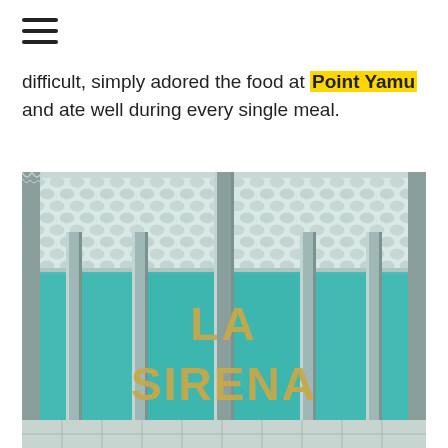difficult, simply adored the food at Point Yamu and ate well during every single meal.
[Figure (photo): Entrance of La Sirena restaurant with teal/turquoise tiled walls, silver metal columns, honeycomb-patterned white ceiling, and gold 3D letters spelling 'LA SIRENA' visible through glass panels.]